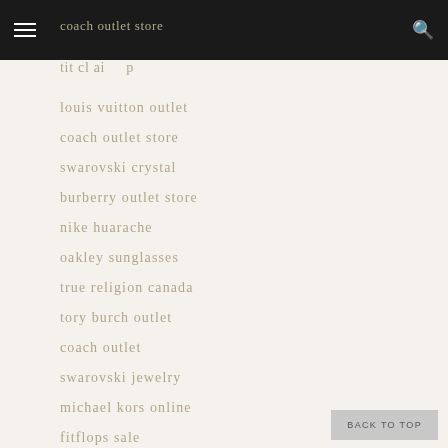coach outlet store
tit cl ai ... p ...
louis vuitton outlet
coach outlet store
swarovski crystal
burberry outlet store
nike huarache
oakley sunglasses
true religion canada
tory burch outlet
coach outlet
swarovski jewelry
michael kors online
fitflops sale
tory burch outlet
hollister clothing store
BACK TO TOP